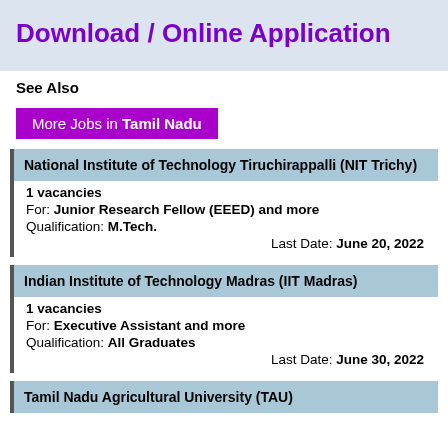Download / Online Application
See Also
More Jobs in Tamil Nadu
National Institute of Technology Tiruchirappalli (NIT Trichy)
1 vacancies
For: Junior Research Fellow (EEED) and more
Qualification: M.Tech.
Last Date: June 20, 2022
Indian Institute of Technology Madras (IIT Madras)
1 vacancies
For: Executive Assistant and more
Qualification: All Graduates
Last Date: June 30, 2022
Tamil Nadu Agricultural University (TAU)